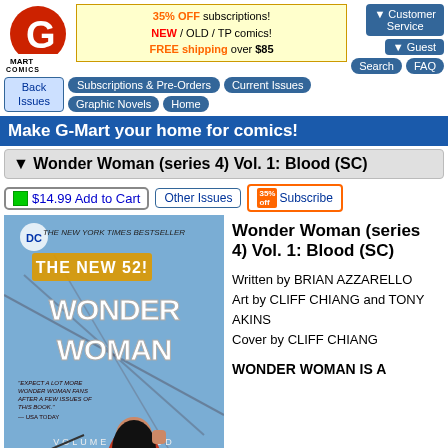[Figure (logo): G-Mart Comics logo with red G and black MART COMICS text]
35% OFF subscriptions! NEW / OLD / TP comics! FREE shipping over $85
▼ Customer Service
▼ Guest
Back Issues
Subscriptions & Pre-Orders | Current Issues | Graphic Novels | Home
Search | FAQ
Make G-Mart your home for comics!
▼ Wonder Woman (series 4) Vol. 1: Blood (SC)
$14.99 Add to Cart | Other Issues | 35% Subscribe
[Figure (photo): Wonder Woman (series 4) Vol. 1: Blood trade paperback comic cover showing Wonder Woman with arrows]
Wonder Woman (series 4) Vol. 1: Blood (SC)

Written by BRIAN AZZARELLO
Art by CLIFF CHIANG and TONY AKINS
Cover by CLIFF CHIANG

WONDER WOMAN IS A